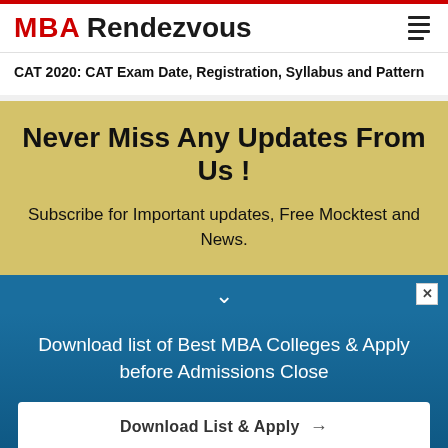MBA Rendezvous
CAT 2020: CAT Exam Date, Registration, Syllabus and Pattern
Never Miss Any Updates From Us !
Subscribe for Important updates, Free Mocktest and News.
Download list of Best MBA Colleges & Apply before Admissions Close
Download List & Apply →